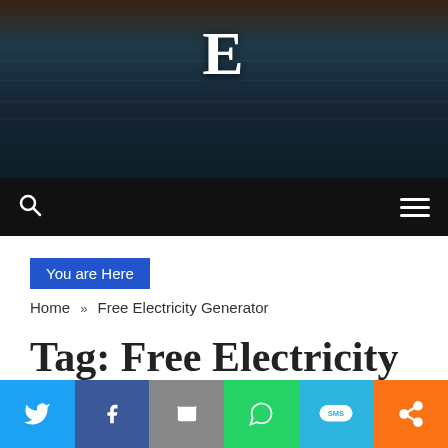[Figure (photo): Dark hero banner with a large white serif letter E centered near the top, over a dark industrial/water background image]
Search icon and hamburger menu on black navigation bar
You are Here
Home » Free Electricity Generator
Tag: Free Electricity
[Figure (infographic): Social sharing bar with Twitter (blue), Facebook (dark blue), Email (gray), WhatsApp (green), SMS (light blue), and Share (orange) buttons with white icons]